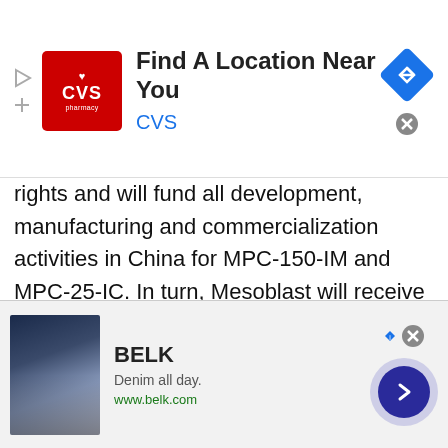[Figure (other): CVS Pharmacy advertisement banner: 'Find A Location Near You' with CVS logo and navigation diamond icon]
rights and will fund all development, manufacturing and commercialization activities in China for MPC-150-IM and MPC-25-IC. In turn, Mesoblast will receive a US$20 million upfront technology access fee and US$20 million in an equity purchase. In addition, Mesoblast will receive US$25 million on product regulatory approvals in China, double-digit escalating royalties on net product sales, and six escalating milestone payments upon the product
[Figure (other): Belk advertisement banner: 'Denim all day.' with www.belk.com and fashion photo]